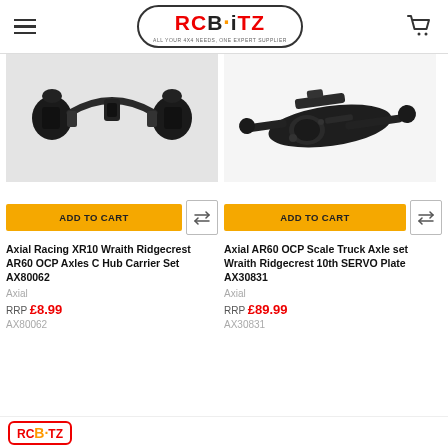RCBiTZ — ALL YOUR 4x4 NEEDS, ONE EXPERT SUPPLIER
[Figure (photo): Black plastic C Hub Carrier Set parts for Axial XR10 Wraith Ridgecrest AR60 OCP Axles — two cylindrical holders connected by a U-shaped bracket, shown on grey background]
[Figure (photo): Black scale truck axle assembly for Axial AR60 OCP — long axle with differential housing, servo plate mount, and axle stubs, shown on white background]
ADD TO CART
ADD TO CART
Axial Racing XR10 Wraith Ridgecrest AR60 OCP Axles C Hub Carrier Set AX80062
Axial AR60 OCP Scale Truck Axle set Wraith Ridgecrest 10th SERVO Plate AX30831
Axial
Axial
RRP £8.99
RRP £89.99
AX80062
AX30831
RCBiTZ